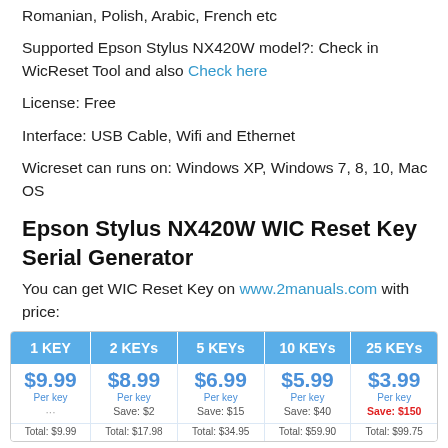Romanian, Polish, Arabic, French etc
Supported Epson Stylus NX420W model?: Check in WicReset Tool and also Check here
License: Free
Interface: USB Cable, Wifi and Ethernet
Wicreset can runs on: Windows XP, Windows 7, 8, 10, Mac OS
Epson Stylus NX420W WIC Reset Key Serial Generator
You can get WIC Reset Key on www.2manuals.com with price:
| 1 KEY | 2 KEYs | 5 KEYs | 10 KEYs | 25 KEYs |
| --- | --- | --- | --- | --- |
| $9.99
Per key
... | $8.99
Per key
Save: $2 | $6.99
Per key
Save: $15 | $5.99
Per key
Save: $40 | $3.99
Per key
Save: $150 |
| Total: $9.99 | Total: $17.98 | Total: $34.95 | Total: $59.90 | Total: $99.75 |